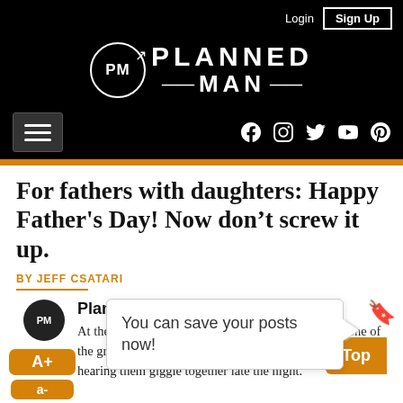Login  Sign Up
[Figure (logo): Planned Man website logo with PM circle and PLANNED MAN text on black background with social icons and hamburger menu]
For fathers with daughters: Happy Father's Day! Now don't screw it up.
BY JEFF CSATARI
You can save your posts now!
PlannedMan  At the risk of sounding a little syrupy, I have to say one of the great rewards of being the father of daughters is hearing them giggle together late the night.